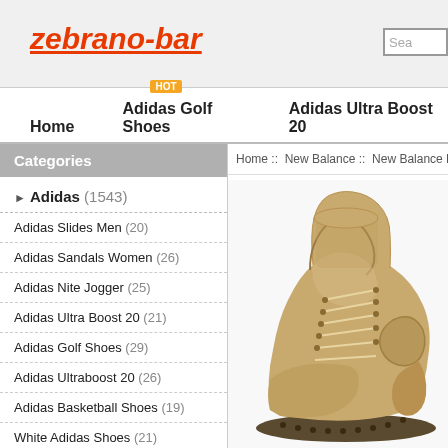zebrano-bar | Search
Home  Adidas Golf Shoes [HOT]  Adidas Ultra Boost 20
Categories
Home ::  New Balance ::  New Balance Boo
Adidas (1543)
Adidas Slides Men (20)
Adidas Sandals Women (26)
Adidas Nite Jogger (25)
Adidas Ultra Boost 20 (21)
Adidas Golf Shoes (29)
Adidas Ultraboost 20 (26)
Adidas Basketball Shoes (19)
White Adidas Shoes (21)
[Figure (photo): Tan/beige New Balance hiking boot mid-top shoe on white background]